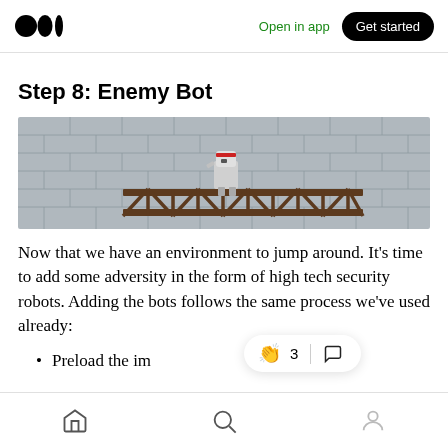Medium logo | Open in app | Get started
Step 8: Enemy Bot
[Figure (screenshot): Game screenshot showing a robot character standing on a brown metal truss/bridge structure against a grey brick wall background.]
Now that we have an environment to jump around. It’s time to add some adversity in the form of high tech security robots. Adding the bots follows the same process we’ve used already:
Preload the im
Home | Search | Profile